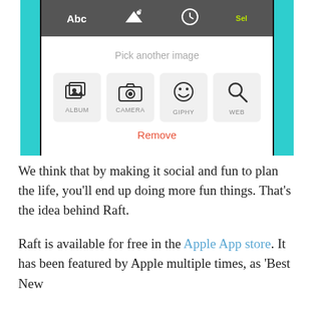[Figure (screenshot): Mobile app screenshot showing image picker interface with ALBUM, CAMERA, GIPHY, WEB options and a Remove button, set within a teal phone frame]
We think that by making it social and fun to plan the life, you’ll end up doing more fun things. That’s the idea behind Raft.
Raft is available for free in the Apple App store. It has been featured by Apple multiple times, as ‘Best New